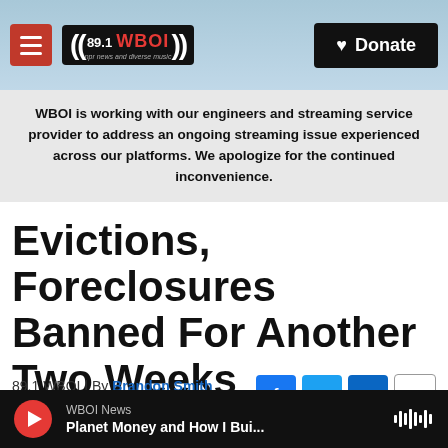89.1 WBOI — npr news and diverse music | Donate
WBOI is working with our engineers and streaming service provider to address an ongoing streaming issue experienced across our platforms. We apologize for the continued inconvenience.
Evictions, Foreclosures Banned For Another Two Weeks
89.1 WBOI | By Brandon Smith
Published July 30, 2020 at 2:56 PM EDT
WBOI News — Planet Money and How I Bui...